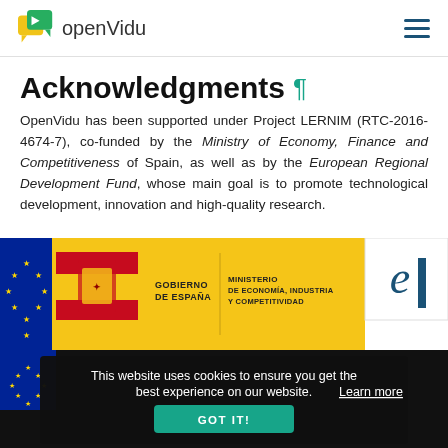openVidu
Acknowledgments
OpenVidu has been supported under Project LERNIM (RTC-2016-4674-7), co-funded by the Ministry of Economy, Finance and Competitiveness of Spain, as well as by the European Regional Development Fund, whose main goal is to promote technological development, innovation and high-quality research.
[Figure (logo): Spanish Government and Ministry of Economy, Industry and Competitiveness logos on yellow background with Spain flag and EU flag, plus a secondary agency logo on white background]
This website uses cookies to ensure you get the best experience on our website. Learn more
GOT IT!